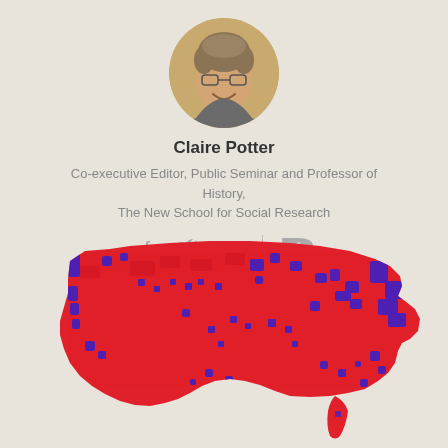[Figure (photo): Circular profile photo of Claire Potter, a person with short curly hair wearing glasses, smiling]
Claire Potter
Co-executive Editor, Public Seminar and Professor of History, The New School for Social Research
[Figure (infographic): Social media icons: Facebook, Twitter, Email, vertical divider, speech bubble comment icon with number 1]
[Figure (map): US county-level election map showing red and blue counties, predominantly red with blue clusters in urban areas]